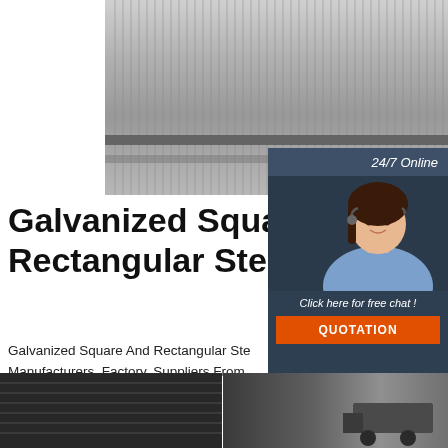[Figure (photo): Top photo of bundled galvanized steel pipes/rods stacked together in a warehouse, gray metallic texture]
[Figure (photo): Customer service representative woman with headset smiling, in a dark blue panel with 24/7 Online label, Click here for free chat, and QUOTATION button]
Galvanized Square And Rectangular Steel Pipe
Galvanized Square And Rectangular Steel Pipe Manufacturers, Factory, Suppliers From 0086-22-58338800ext.8874 linda@youfasteelpipe.com
[Figure (illustration): TOP logo — red triangle with dots and TOP text]
[Figure (photo): Get Price button (green) and two bottom product photos showing steel pipes/warehouse]